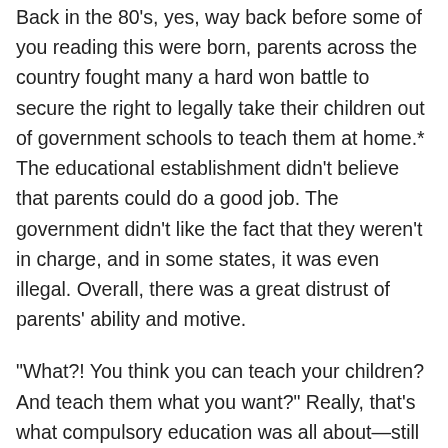Back in the 80's, yes, way back before some of you reading this were born, parents across the country fought many a hard won battle to secure the right to legally take their children out of government schools to teach them at home.* The educational establishment didn't believe that parents could do a good job. The government didn't like the fact that they weren't in charge, and in some states, it was even illegal. Overall, there was a great distrust of parents' ability and motive.
“What?! You think you can teach your children? And teach them what you want?” Really, that’s what compulsory education was all about—still is. It was not established to ensure the kiddos received a good education. It was about controlling the narrative; making sure that youngsters became good citizens—